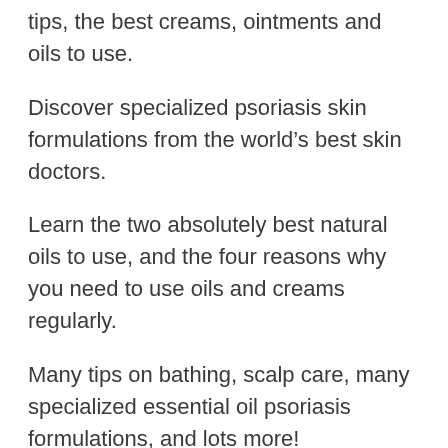tips, the best creams, ointments and oils to use.
Discover specialized psoriasis skin formulations from the world’s best skin doctors.
Learn the two absolutely best natural oils to use, and the four reasons why you need to use oils and creams regularly.
Many tips on bathing, scalp care, many specialized essential oil psoriasis formulations, and lots more!
This book even contains several psoriasis skin-care recipes you can make up at home.